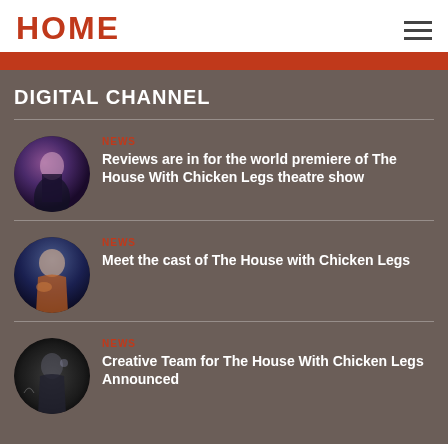HOME
DIGITAL CHANNEL
NEWS
Reviews are in for the world premiere of The House With Chicken Legs theatre show
NEWS
Meet the cast of The House with Chicken Legs
NEWS
Creative Team for The House With Chicken Legs Announced